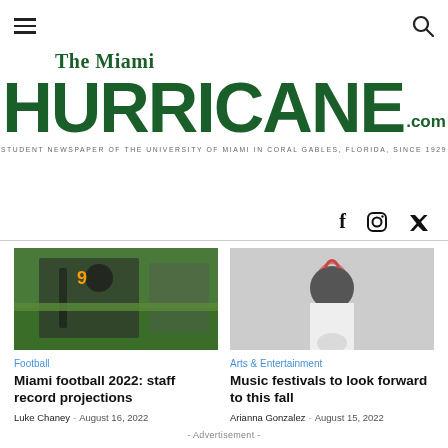The Miami Hurricane.com — Student Newspaper of the University of Miami in Coral Gables, Florida, Since 1929
[Figure (logo): The Miami Hurricane.com logo with tagline: Student Newspaper of the University of Miami in Coral Gables, Florida, Since 1929]
[Figure (photo): Miami Hurricanes football players on field during game]
Football
Miami football 2022: staff record projections
Luke Chaney - August 16, 2022
[Figure (photo): Performer at music festival with arms raised]
Arts & Entertainment
Music festivals to look forward to this fall
Arianna Gonzalez - August 15, 2022
- Advertisement -